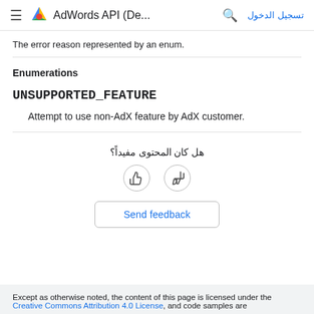AdWords API (De... | تسجيل الدخول
The error reason represented by an enum.
Enumerations
UNSUPPORTED_FEATURE
Attempt to use non-AdX feature by AdX customer.
هل كان المحتوى مفيداً؟
Send feedback
Except as otherwise noted, the content of this page is licensed under the Creative Commons Attribution 4.0 License, and code samples are